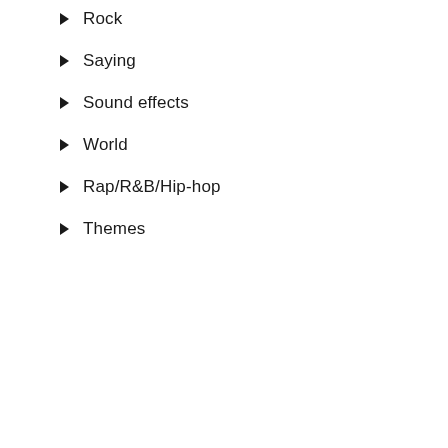Rock
Saying
Sound effects
World
Rap/R&B/Hip-hop
Themes